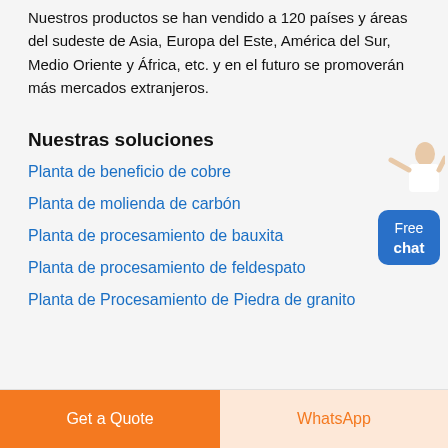Nuestros productos se han vendido a 120 países y áreas del sudeste de Asia, Europa del Este, América del Sur, Medio Oriente y África, etc. y en el futuro se promoverán más mercados extranjeros.
Nuestras soluciones
Planta de beneficio de cobre
Planta de molienda de carbón
Planta de procesamiento de bauxita
Planta de procesamiento de feldespato
Planta de Procesamiento de Piedra de granito